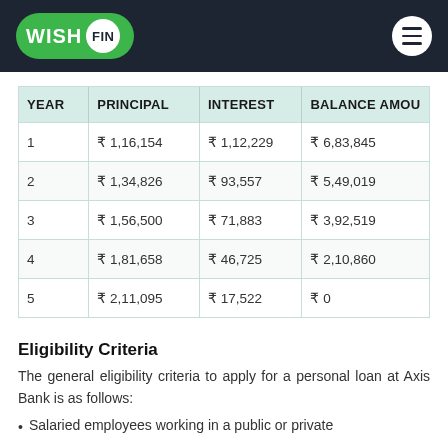WISH FIN
| YEAR | PRINCIPAL | INTEREST | BALANCE AMOU |
| --- | --- | --- | --- |
| 1 | ₹ 1,16,154 | ₹ 1,12,229 | ₹ 6,83,845 |
| 2 | ₹ 1,34,826 | ₹ 93,557 | ₹ 5,49,019 |
| 3 | ₹ 1,56,500 | ₹ 71,883 | ₹ 3,92,519 |
| 4 | ₹ 1,81,658 | ₹ 46,725 | ₹ 2,10,860 |
| 5 | ₹ 2,11,095 | ₹ 17,522 | ₹ 0 |
Eligibility Criteria
The general eligibility criteria to apply for a personal loan at Axis Bank is as follows:
Salaried employees working in a public or private